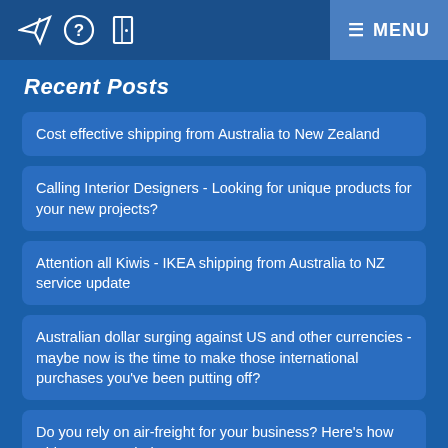MENU
Recent Posts
Cost effective shipping from Australia to New Zealand
Calling Interior Designers - Looking for unique products for your new projects?
Attention all Kiwis - IKEA shipping from Australia to NZ service update
Australian dollar surging against US and other currencies - maybe now is the time to make those international purchases you've been putting off?
Do you rely on air-freight for your business? Here's how Shipporter can help